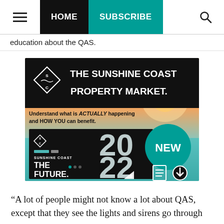HOME | SUBSCRIBE
education about the QAS.
[Figure (illustration): Advertisement for 'The Sunshine Coast Property Market 2022 - The Future' report. Features the SC logo, text 'THE SUNSHINE COAST PROPERTY MARKET. Understand what is ACTUALLY happening and HOW YOU can benefit.' with a '2022' large display and 'NEW' badge in teal, plus download/document icons.]
“A lot of people might not know a lot about QAS, except that they see the lights and sirens go through